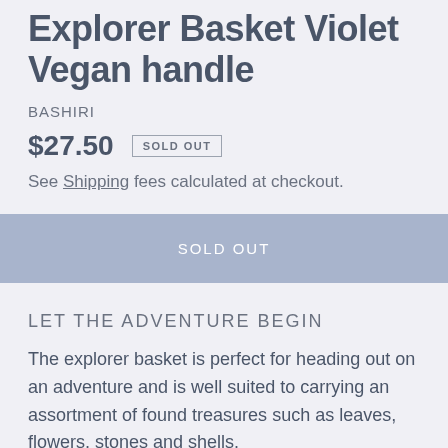Explorer Basket Violet Vegan handle
BASHIRI
$27.50  SOLD OUT
See Shipping fees calculated at checkout.
SOLD OUT
LET THE ADVENTURE BEGIN
The explorer basket is perfect for heading out on an adventure and is well suited to carrying an assortment of found treasures such as leaves, flowers, stones and shells.